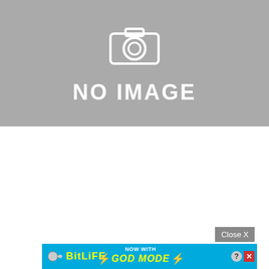[Figure (other): Gray placeholder image with camera icon and text 'NO IMAGE']
[Figure (other): Advertisement banner for BitLife 'NOW WITH GOD MODE' with close button]